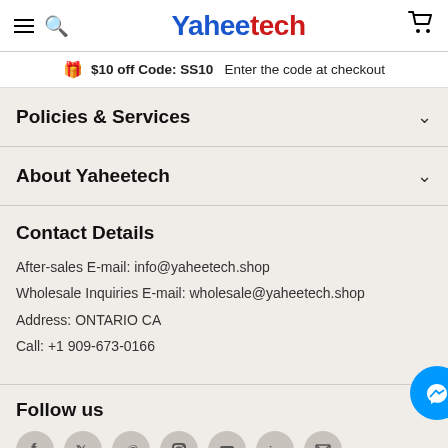Yaheetech
$10 off Code: SS10  Enter the code at checkout
Policies & Services
About Yaheetech
Contact Details
After-sales E-mail: info@yaheetech.shop
Wholesale Inquiries E-mail: wholesale@yaheetech.shop
Address: ONTARIO CA
Call: +1 909-673-0166
Follow us